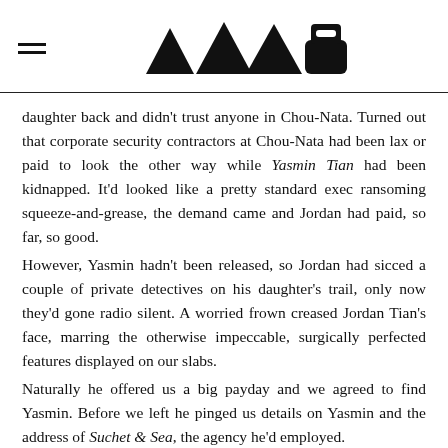[hamburger menu icon] [logo: four triangles and a house/robot shape]
daughter back and didn't trust anyone in Chou-Nata. Turned out that corporate security contractors at Chou-Nata had been lax or paid to look the other way while Yasmin Tian had been kidnapped. It'd looked like a pretty standard exec ransoming squeeze-and-grease, the demand came and Jordan had paid, so far, so good.
However, Yasmin hadn't been released, so Jordan had sicced a couple of private detectives on his daughter's trail, only now they'd gone radio silent. A worried frown creased Jordan Tian's face, marring the otherwise impeccable, surgically perfected features displayed on our slabs.
Naturally he offered us a big payday and we agreed to find Yasmin. Before we left he pinged us details on Yasmin and the address of Suchet & Sea, the agency he'd employed.

Suchet & Sea operated out of Shinjuku Station, a small rented corner office located in some drab, anonymous office complex on